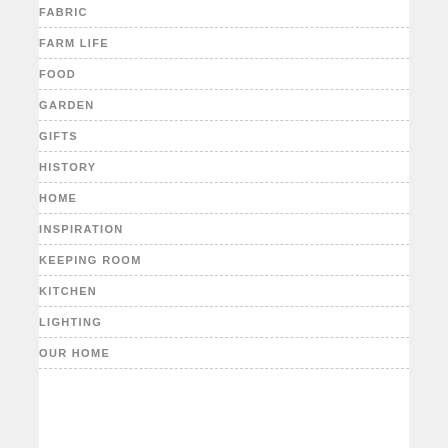FABRIC
FARM LIFE
FOOD
GARDEN
GIFTS
HISTORY
HOME
INSPIRATION
KEEPING ROOM
KITCHEN
LIGHTING
OUR HOME